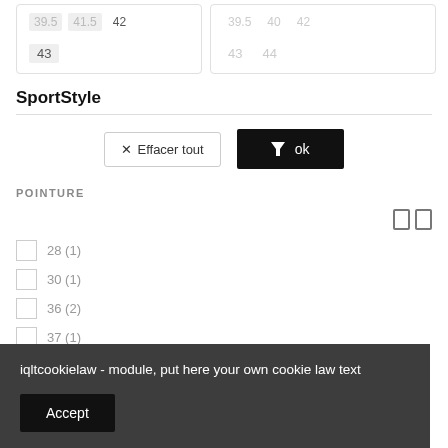[Figure (screenshot): Two size selector cards showing numbers 39.5, 41.5, 42, 43 (left card) and 39.5, 40, 42, 43, 44 (right card, grayed out)]
SportStyle
[Figure (screenshot): Filter controls: 'Effacer tout' clear button and black 'ok' button with filter icon]
POINTURE
28 (1)
30 (1)
36 (2)
37 (1)
37.5 (2)
iqltcookielaw - module, put here your own cookie law text
Accept